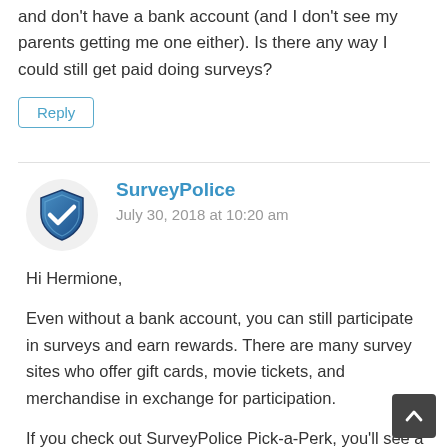and don't have a bank account (and I don't see my parents getting me one either). Is there any way I could still get paid doing surveys?
Reply
[Figure (logo): SurveyPolice shield logo with blue checkmark]
SurveyPolice
July 30, 2018 at 10:20 am
Hi Hermione,
Even without a bank account, you can still participate in surveys and earn rewards. There are many survey sites who offer gift cards, movie tickets, and merchandise in exchange for participation.
If you check out SurveyPolice Pick-a-Perk, you'll see a list of the top rated survey sites who offer membership to teens: https://www.surveypolice.com/pick-a-perk/search?mo_ids%5B%5D=19&p=1. You can refine